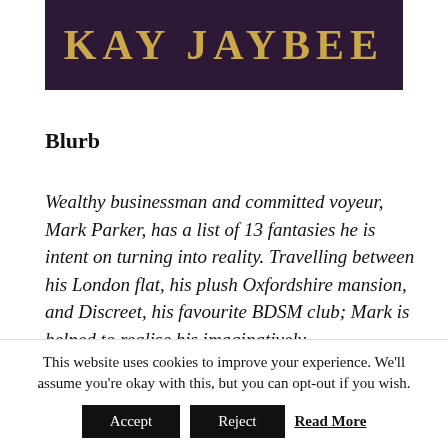[Figure (illustration): Book cover image with dark purple background showing author name 'KAY JAYBEE' in gold serif letters]
Blurb
Wealthy businessman and committed voyeur, Mark Parker, has a list of 13 fantasies he is intent on turning into reality. Travelling between his London flat, his plush Oxfordshire mansion, and Discreet, his favourite BDSM club; Mark is helped to realise his imaginatively
This website uses cookies to improve your experience. We'll assume you're okay with this, but you can opt-out if you wish. Accept Reject Read More